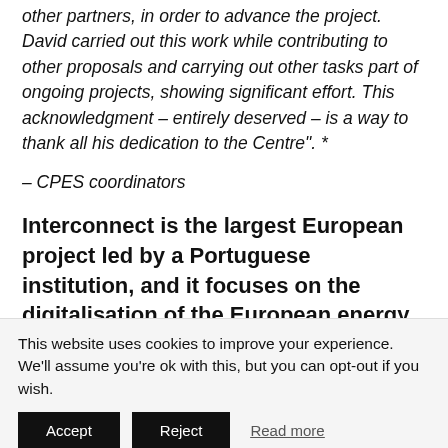other partners, in order to advance the project. David carried out this work while contributing to other proposals and carrying out other tasks part of ongoing projects, showing significant effort. This acknowledgment – entirely deserved – is a way to thank all his dedication to the Centre". *
– CPES coordinators
Interconnect is the largest European project led by a Portuguese institution, and it focuses on the digitalisation of the European energy system. How does it feel to work on the development of
This website uses cookies to improve your experience. We'll assume you're ok with this, but you can opt-out if you wish.